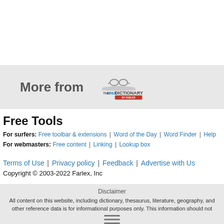[Figure (logo): The Free Dictionary by Farlex logo with glasses icon, shown in a gray banner next to the text 'More from']
Free Tools
For surfers: Free toolbar & extensions | Word of the Day | Word Finder | Help
For webmasters: Free content | Linking | Lookup box
Terms of Use | Privacy policy | Feedback | Advertise with Us
Copyright © 2003-2022 Farlex, Inc
Disclaimer
All content on this website, including dictionary, thesaurus, literature, geography, and other reference data is for informational purposes only. This information should not